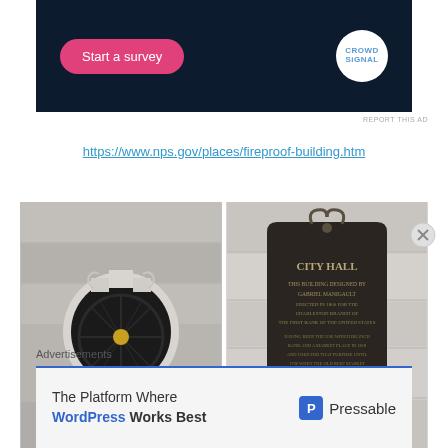[Figure (screenshot): Dark navy advertisement banner with pink 'Start a survey' button on left and circular Crowdsignal logo on right]
REPORT THIS AD
https://www.nps.gov/places/fireproof-building.htm
[Figure (photo): Two side-by-side photos: left shows arched ornamental window with wrought iron design on a grey building; right shows a dark bronze historical plaque reading 'CITY HALL' mounted on a stone wall]
Advertisements
[Figure (screenshot): Advertisement banner: 'The Platform Where WordPress Works Best' with Pressable logo]